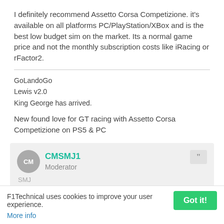I definitely recommend Assetto Corsa Competizione. it's available on all platforms PC/PlayStation/XBox and is the best low budget sim on the market. Its a normal game price and not the monthly subscription costs like iRacing or rFactor2.
GoLandoGo
Lewis v2.0
King George has arrived.

New found love for GT racing with Assetto Corsa Competizione on PS5 & PC
CMSMJ1
Moderator
F1Technical uses cookies to improve your user experience.
More info